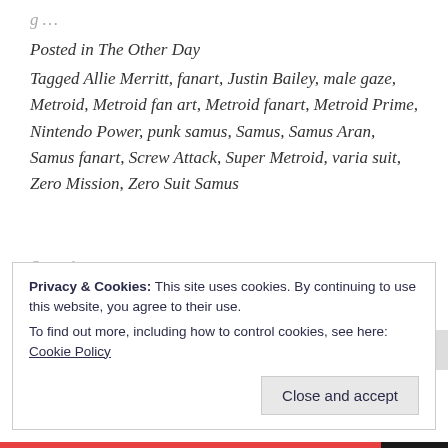Posted in The Other Day
Tagged Allie Merritt, fanart, Justin Bailey, male gaze, Metroid, Metroid fan art, Metroid fanart, Metroid Prime, Nintendo Power, punk samus, Samus, Samus Aran, Samus fanart, Screw Attack, Super Metroid, varia suit, Zero Mission, Zero Suit Samus
Search ...
Privacy & Cookies: This site uses cookies. By continuing to use this website, you agree to their use.
To find out more, including how to control cookies, see here: Cookie Policy
Close and accept